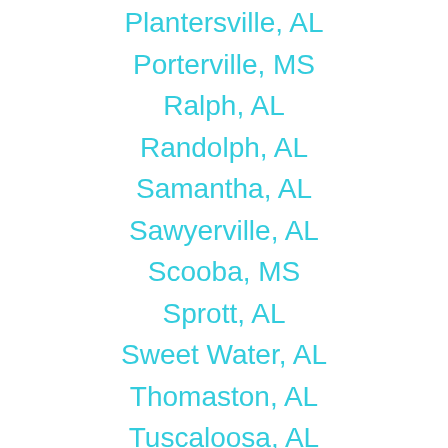Plantersville, AL
Porterville, MS
Ralph, AL
Randolph, AL
Samantha, AL
Sawyerville, AL
Scooba, MS
Sprott, AL
Sweet Water, AL
Thomaston, AL
Tuscaloosa, AL
Uniontown, AL
Ward, AL
West Blocton, AL
Woodstock, AL